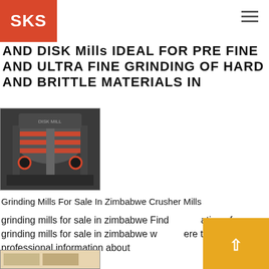SKS
AND DISK Mills IDEAL FOR PRE FINE AND ULTRA FINE GRINDING OF HARD AND BRITTLE MATERIALS IN
[Figure (photo): Industrial disk/grinding mill machine with orange/red components in a factory setting]
Grinding Mills For Sale In Zimbabwe Crusher Mills
grinding mills for sale in zimbabwe Find ation of grinding mills for sale in zimbabwe w ere to provide most professional information about
[Figure (photo): Bottom strip image placeholder]